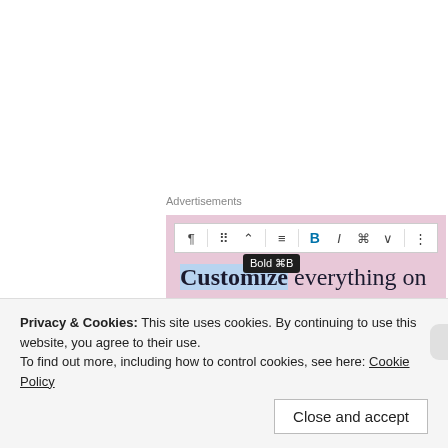Advertisements
[Figure (screenshot): WordPress block editor screenshot showing a pink advertisement block with toolbar (paragraph, list, text-align, bold, italic, link, more options), a Bold tooltip visible, and text reading 'Customize everything on your site with the new Site Editor.' with 'Customize' highlighted in blue.]
The game changer was my new blow dryer.  Like WHO KNEW.  That jawn got me HIGHLY right in about 30-40 minutes.  Now, it wasn't silk press straight like the box, but to go from ear skimming Afro to shoulder length blowout in that time frame and be completely dry, cut
Privacy & Cookies: This site uses cookies. By continuing to use this website, you agree to their use.
To find out more, including how to control cookies, see here: Cookie Policy
Close and accept